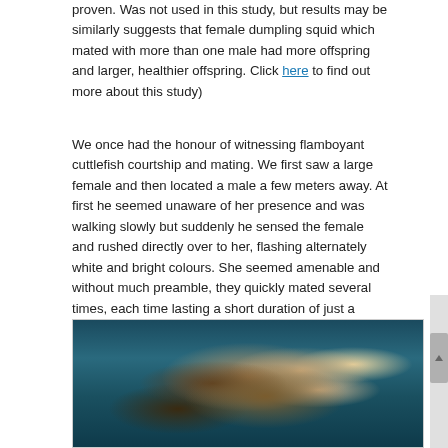proven. Was not used in this study, but results may be similarly suggests that female dumpling squid which mated with more than one male had more offspring and larger, healthier offspring. Click here to find out more about this study)
We once had the honour of witnessing flamboyant cuttlefish courtship and mating. We first saw a large female and then located a male a few meters away. At first he seemed unaware of her presence and was walking slowly but suddenly he sensed the female and rushed directly over to her, flashing alternately white and bright colours. She seemed amenable and without much preamble, they quickly mated several times, each time lasting a short duration of just a second or two. After this, she ambled off to find a place to lay her eggs and started doing this immediately. She took several minutes to lay each egg individually, in this case on the underside of a shell.
[Figure (photo): Underwater photograph of a flamboyant cuttlefish, showing the creature with yellow and brown coloring against a dark teal underwater background.]